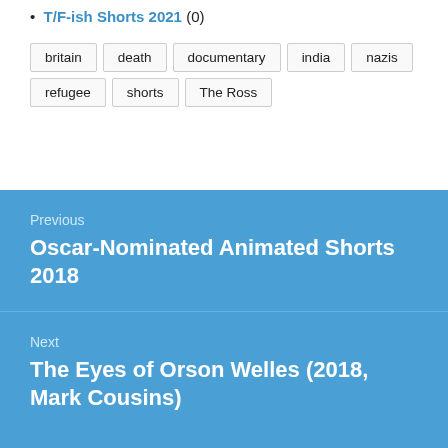T/F-ish Shorts 2021 (0)
britain  death  documentary  india  nazis  refugee  shorts  The Ross
Previous
Oscar-Nominated Animated Shorts 2018
Next
The Eyes of Orson Welles (2018, Mark Cousins)